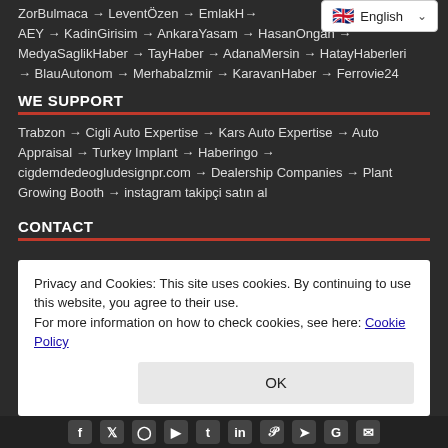ZorBulmaca → LeventÖzen → EmlakH... → AEY → KadinGirisim → AnkaraYasam → HasanOngan → MedyaSaglikHaber → TayHaber → AdanaMersin → HatayHaberleri → BlauAutonom → MerhabaIzmir → KaravanHaber → Ferrovie24
WE SUPPORT
Trabzon → Cigli Auto Expertise → Kars Auto Expertise → Auto Appraisal → Turkey Implant → Haberingo → cigdemdedeogludesignpr.com → Dealership Companies → Plant Growing Booth → instagram takipçi satın al
CONTACT
Privacy and Cookies: This site uses cookies. By continuing to use this website, you agree to their use.
For more information on how to check cookies, see here: Cookie Policy